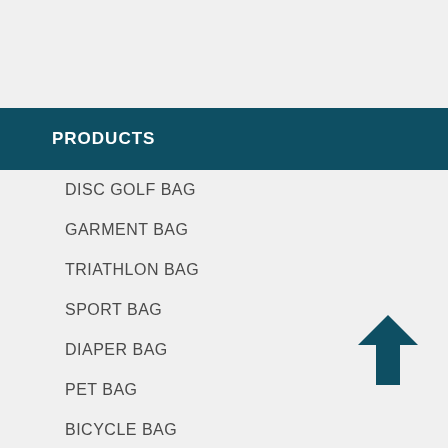PRODUCTS
DISC GOLF BAG
GARMENT BAG
TRIATHLON BAG
SPORT BAG
DIAPER BAG
PET BAG
BICYCLE BAG
PICNIC BAG
TOOL BAG
MEDICAL BAG
TRAVEL ACCESSORIES